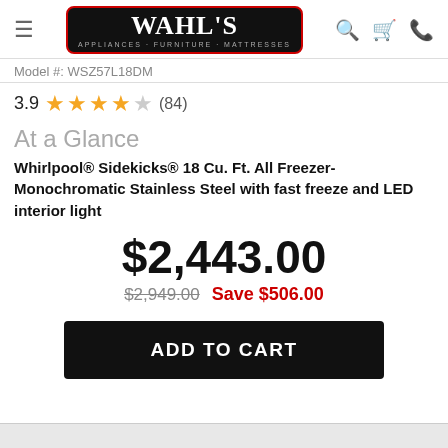[Figure (logo): Wahl's Appliances Furniture Mattresses logo — white text on black rounded rectangle with red border]
Model #: WSZ57L18DM
3.9 ★★★★☆ (84)
At a Glance
Whirlpool® Sidekicks® 18 Cu. Ft. All Freezer-Monochromatic Stainless Steel with fast freeze and LED interior light
$2,443.00
$2,949.00  Save $506.00